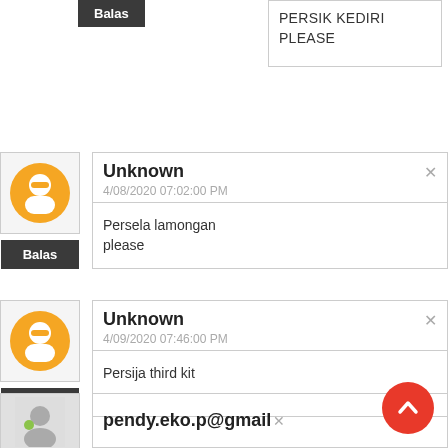PERSIK KEDIRI PLEASE
[Figure (illustration): Blogger orange avatar icon]
Balas
Unknown
4/08/2020 07:02:00 PM
Persela lamongan please
[Figure (illustration): Blogger orange avatar icon]
Balas
Unknown
4/09/2020 07:46:00 PM
Persija third kit
[Figure (illustration): User avatar thumbnail]
pendy.eko.p@gmail